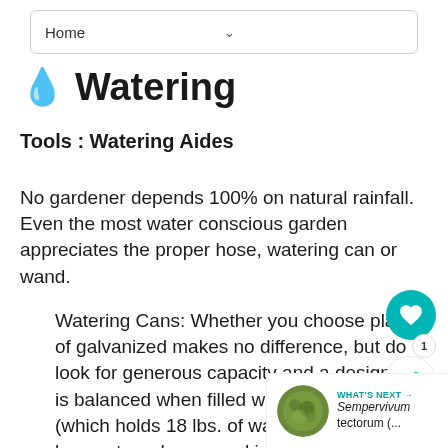Home
💧 Watering
Tools : Watering Aides
No gardener depends 100% on natural rainfall. Even the most water conscious garden appreciates the proper hose, watering can or wand.
Watering Cans: Whether you choose plastic of galvanized makes no difference, but do look for generous capacity and a design that is balanced when filled with water. A can (which holds 18 lbs. of water) is preferred by most gardeners and is best